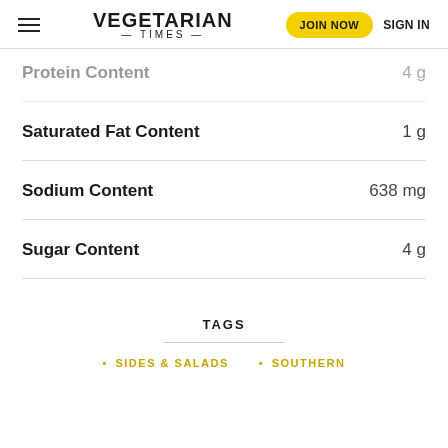VEGETARIAN TIMES — TIMES — JOIN NOW  SIGN IN
Protein Content  4 g
Saturated Fat Content  1 g
Sodium Content  638 mg
Sugar Content  4 g
TAGS
• SIDES & SALADS
• SOUTHERN